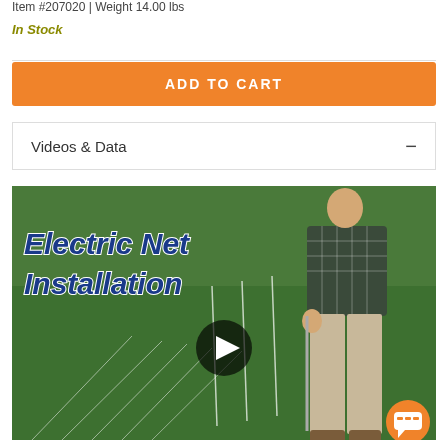Item #207020 | Weight 14.00 lbs
In Stock
ADD TO CART
Videos & Data
[Figure (screenshot): Video thumbnail showing 'Electric Net Installation' with a person installing electric net fencing on grass, with a play button overlay and a chat button in the bottom right.]